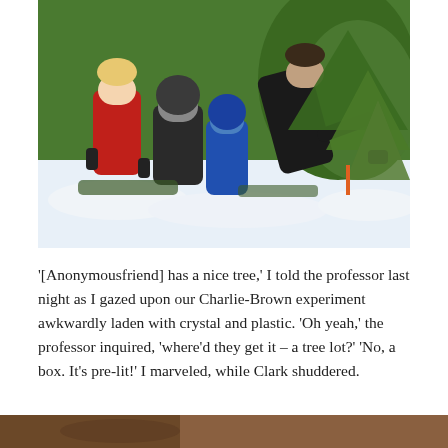[Figure (photo): Children and an adult in winter outdoor setting with snow and pine trees. A boy in a red jacket stands at left, two children in dark hoodies in center, and an adult in black jacket bends toward a pine tree on the right.]
'[Anonymousfriend] has a nice tree,' I told the professor last night as I gazed upon our Charlie-Brown experiment awkwardly laden with crystal and plastic. 'Oh yeah,' the professor inquired, 'where'd they get it – a tree lot?' 'No, a box. It's pre-lit!' I marveled, while Clark shuddered.
[Figure (photo): Partial view of another outdoor photo at the bottom of the page, showing warm brown tones.]